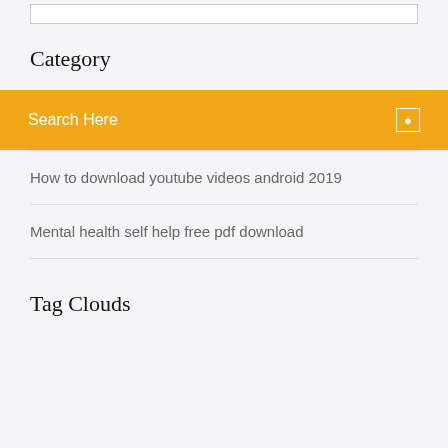[Figure (other): Partial top border box outline visible at top of page]
Category
Search Here
How to download youtube videos android 2019
Mental health self help free pdf download
Tag Clouds